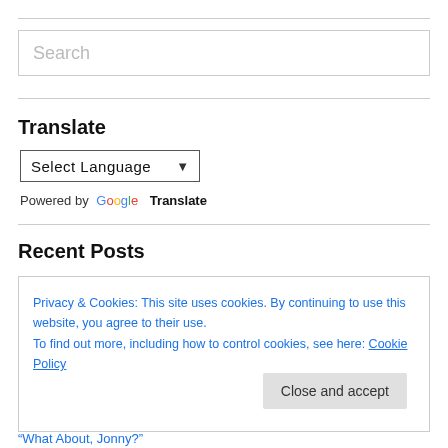[Figure (other): Search input box with placeholder text 'Search']
Translate
[Figure (other): Select Language dropdown widget]
Powered by Google Translate
Recent Posts
Privacy & Cookies: This site uses cookies. By continuing to use this website, you agree to their use.
To find out more, including how to control cookies, see here: Cookie Policy
“What About, Jonny?”